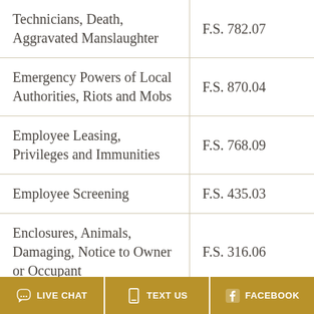| Technicians, Death, Aggravated Manslaughter | F.S. 782.07 |
| Emergency Powers of Local Authorities, Riots and Mobs | F.S. 870.04 |
| Employee Leasing, Privileges and Immunities | F.S. 768.09 |
| Employee Screening | F.S. 435.03 |
| Enclosures, Animals, Damaging, Notice to Owner or Occupant | F.S. 316.06 |
| Engineers, Liability | F.S. 471.02 |
LIVE CHAT   TEXT US   FACEBOOK